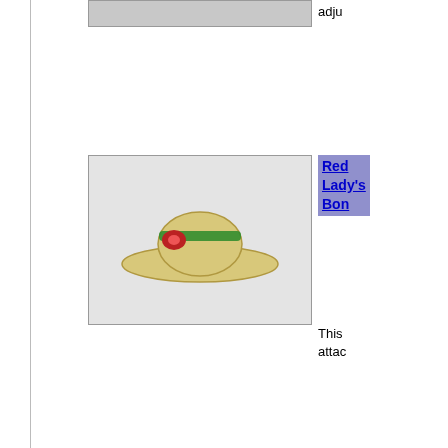[Figure (photo): Partial view of a product image at top of page (cropped)]
adju
[Figure (photo): Photo of a small straw lady's bonnet hat with red flower and green ribbon decoration]
Red Lady's Bon
This atta
[Figure (photo): Photo of a small red top hat with white band and blue embellishment]
Red Hat
LIMI
[Figure (photo): Photo of a small red rat hat/beret with white string]
Red Rat
This ratte